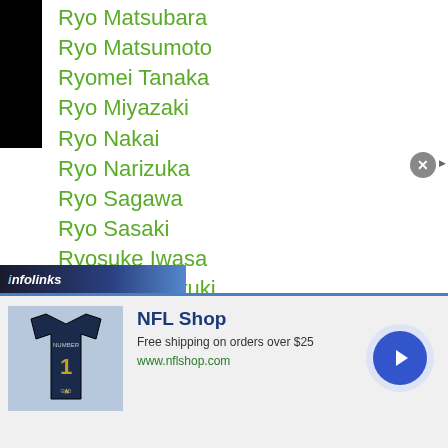Ryo Matsubara
Ryo Matsumoto
Ryomei Tanaka
Ryo Miyazaki
Ryo Nakai
Ryo Narizuka
Ryo Sagawa
Ryo Sasaki
Ryosuke Iwasa
Ryosuke Maruki
Ryosuke Nasu
Ryosuke Nishida
Ryosuke Takami
Ryo Suwa
Ryota Ishida
Ryota Kajiki
[Figure (infographic): NFL Shop advertisement banner with jersey image, 'Free shipping on orders over $25', www.nflshop.com, and a blue circular arrow button. Infolinks branding bar above.]